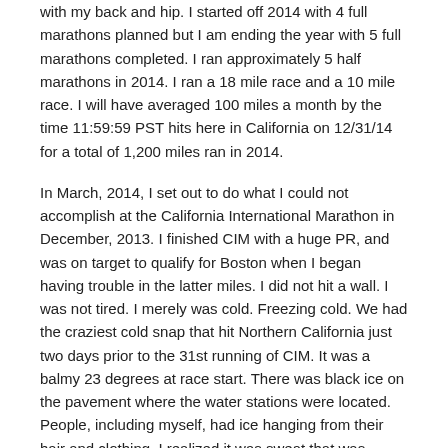with my back and hip.  I started off 2014 with 4 full marathons planned but I am ending the year with 5 full marathons completed.  I ran approximately 5 half marathons in 2014.  I ran a 18 mile race and a 10 mile race.  I will have averaged 100 miles a month by the time 11:59:59 PST hits here in California on 12/31/14 for a total of 1,200 miles ran in 2014.
In March, 2014, I set out to do what I could not accomplish at the California International Marathon in December, 2013.  I finished CIM with a huge PR, and was on target to qualify for Boston when I began having trouble in the latter miles.  I did not hit a wall. I was not tired.  I merely was cold.  Freezing cold.  We had the craziest cold snap that hit Northern California just two days prior to the 31st running of CIM.  It was a balmy 23 degrees at race start.  There was black ice on the pavement where the water stations were located.  People, including myself, had ice hanging from their hair and clothing.  I realized it was sweat that was freezing instantaneously.  I hit mile 20 in sub 3 hours and I knew that my pace was on target to BQ.  But, that did not happen that day.  As I mentioned, I self-destructed with hip flexor issues and being cold.  I finished CIM with a 4:11 for an all time marathon PR.   My BQ time is